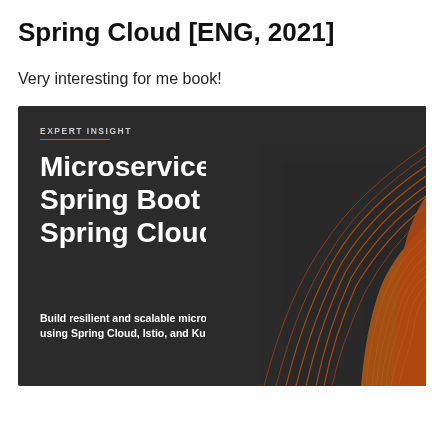Spring Cloud [ENG, 2021]
Very interesting for me book!
[Figure (illustration): Book cover of 'Microservices with Spring Boot and Spring Cloud' — dark background with orange wave graphics, subtitle: Build resilient and scalable microservices using Spring Cloud, Istio, and Kubernetes. Badge: EXPERT INSIGHT.]